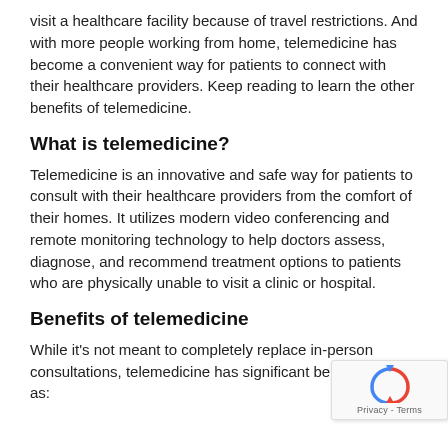visit a healthcare facility because of travel restrictions. And with more people working from home, telemedicine has become a convenient way for patients to connect with their healthcare providers. Keep reading to learn the other benefits of telemedicine.
What is telemedicine?
Telemedicine is an innovative and safe way for patients to consult with their healthcare providers from the comfort of their homes. It utilizes modern video conferencing and remote monitoring technology to help doctors assess, diagnose, and recommend treatment options to patients who are physically unable to visit a clinic or hospital.
Benefits of telemedicine
While it's not meant to completely replace in-person consultations, telemedicine has significant benefits as: